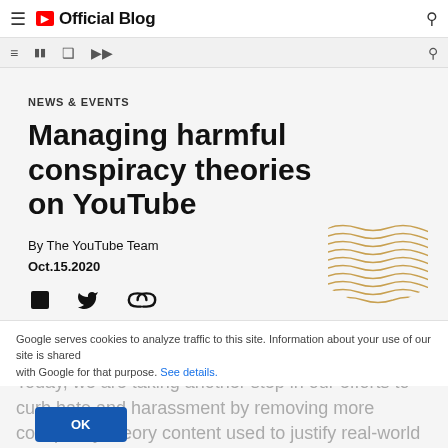YouTube Official Blog
NEWS & EVENTS
Managing harmful conspiracy theories on YouTube
By The YouTube Team
Oct.15.2020
[Figure (illustration): Social share icons: Facebook, Twitter, link]
[Figure (illustration): Wavy gold decorative pattern in hexagon shape]
Google serves cookies to analyze traffic to this site. Information about your use of our site is shared with Google for that purpose. See details.
Today, we are taking another step in our efforts to curb hate and harassment by removing more conspiracy theory content used to justify real-world